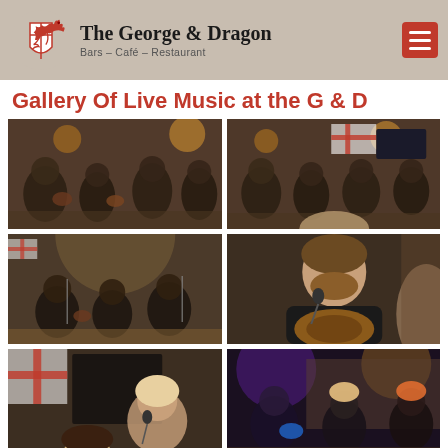The George & Dragon — Bars – Café – Restaurant
Gallery Of Live Music at the G & D
[Figure (photo): Band performing live music inside the George & Dragon pub — multiple musicians with acoustic guitars seated in rustic brick-walled interior]
[Figure (photo): Band performing live music inside the George & Dragon pub — musicians with guitars in front of English St George flag on brick wall]
[Figure (photo): Small acoustic band performing on wooden floor with microphone stands — brick wall background]
[Figure (photo): Close-up of male singer/guitarist performing — man in dark shirt playing acoustic guitar near microphone]
[Figure (photo): Female vocalist performing on stage with St George flag in background]
[Figure (photo): Band performing on stage with coloured lights — musicians with guitars in pub setting]